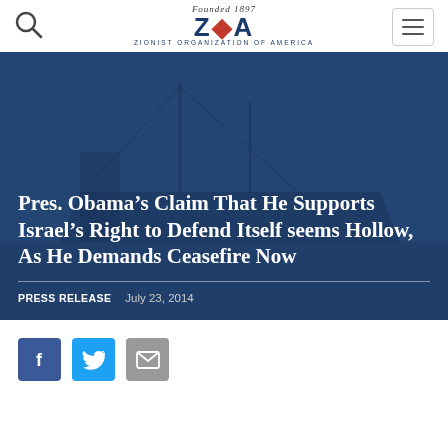Founded 1897 — Zionist Organization of America
[Figure (screenshot): Hero background image showing a ship silhouette in blue tones with a dark blue overlay]
Pres. Obama’s Claim That He Supports Israel’s Right to Defend Itself seems Hollow, As He Demands Ceasefire Now
PRESS RELEASE   July 23, 2014
[Figure (infographic): Social share buttons: Facebook (blue), Twitter (light blue), Email (grey)]